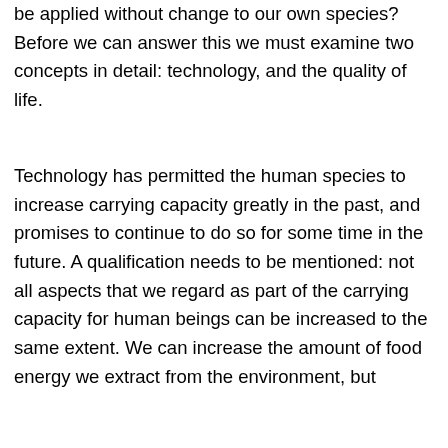be applied without change to our own species? Before we can answer this we must examine two concepts in detail: technology, and the quality of life.
Technology has permitted the human species to increase carrying capacity greatly in the past, and promises to continue to do so for some time in the future. A qualification needs to be mentioned: not all aspects that we regard as part of the carrying capacity for human beings can be increased to the same extent. We can increase the amount of food energy we extract from the environment, but